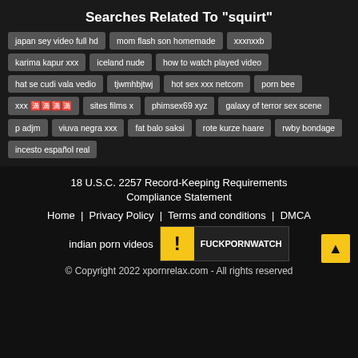Searches Related To "squirt"
japan sey video full hd
mom flash son homemade
xxxnxxb
karima kapur xxx
iceland nude
how to watch played video
hat se cudi vala vedio
tjwmhbjtwj
hot sex xxx netcom
porn bee
xxx 한국어
sites films x
phimsex69 xyz
galaxy of terror sex scene
p adjm
viuva negra xxx
fat balo saksi
rote kurze haare
rwby bondage
incesto español real
18 U.S.C. 2257 Record-Keeping Requirements Compliance Statement
Home   Privacy Policy   Terms and conditions   DMCA
indian porn videos
© Copyright 2022 xpornrelax.com - All rights reserved